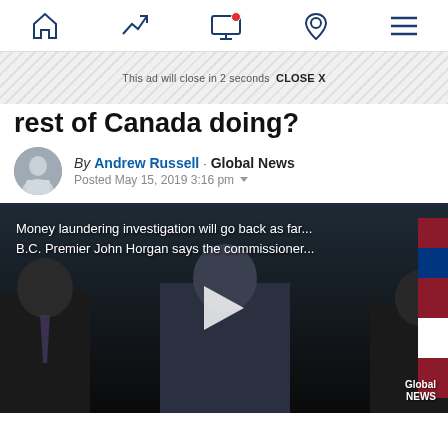Navigation bar with home, trending, notifications, location, and menu icons
This ad will close in 2 seconds  CLOSE X
rest of Canada doing?
By Andrew Russell · Global News
Posted May 15, 2019 3:16 pm
[Figure (screenshot): Video thumbnail showing B.C. Premier John Horgan at a press conference with two other men, with BC flags in the background. Text overlay reads: 'Money laundering investigation will go back as far... B.C. Premier John Horgan says the commissioner...' A play button triangle is visible in the center. Global News logo in bottom right corner.]